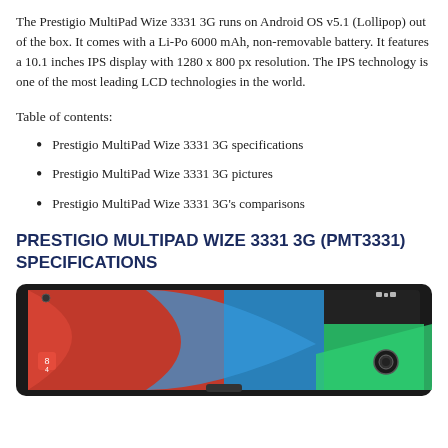The Prestigio MultiPad Wize 3331 3G runs on Android OS v5.1 (Lollipop) out of the box. It comes with a Li-Po 6000 mAh, non-removable battery. It features a 10.1 inches IPS display with 1280 x 800 px resolution. The IPS technology is one of the most leading LCD technologies in the world.
Table of contents:
Prestigio MultiPad Wize 3331 3G specifications
Prestigio MultiPad Wize 3331 3G pictures
Prestigio MultiPad Wize 3331 3G's comparisons
PRESTIGIO MULTIPAD WIZE 3331 3G (PMT3331) SPECIFICATIONS
[Figure (photo): Prestigio MultiPad Wize 3331 3G tablet device showing Android home screen with colorful wallpaper (red, blue, green sections) and app icons]